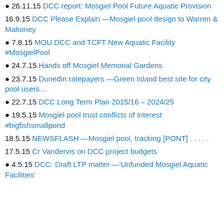26.11.15 DCC report: Mosgiel Pool Future Aquatic Provision
16.9.15 DCC Please Explain —Mosgiel pool design to Warren & Mahoney
7.8.15 MOU DCC and TCFT New Aquatic Facility #MosgielPool
24.7.15 Hands off Mosgiel Memorial Gardens
23.7.15 Dunedin ratepayers —Green Island best site for city pool users…
22.7.15 DCC Long Term Plan 2015/16 – 2024/25
19.5.15 Mosgiel pool trust conflicts of interest #bigfishsmallpond
18.5.15 NEWSFLASH —Mosgiel pool, tracking [PONT] . . . . .
17.5.15 Cr Vandervis on DCC project budgets
4.5.15 DCC: Draft LTP matter —'Unfunded Mosgiel Aquatic Facilities'